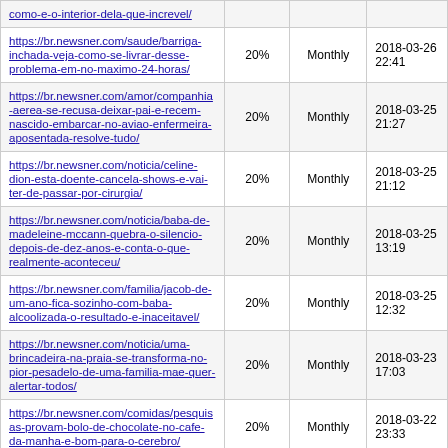| URL | Priority | Change Frequency | Last Modified |
| --- | --- | --- | --- |
| como-e-o-interior-dela-que-increvel/ | 20% | Monthly |  |
| https://br.newsner.com/saude/barriga-inchada-veja-como-se-livrar-desse-problema-em-no-maximo-24-horas/ | 20% | Monthly | 2018-03-26 22:41 |
| https://br.newsner.com/amor/companhia-aerea-se-recusa-deixar-pai-e-recem-nascido-embarcar-no-aviao-enfermeira-aposentada-resolve-tudo/ | 20% | Monthly | 2018-03-25 21:27 |
| https://br.newsner.com/noticia/celine-dion-esta-doente-cancela-shows-e-vai-ter-de-passar-por-cirurgia/ | 20% | Monthly | 2018-03-25 21:12 |
| https://br.newsner.com/noticia/baba-de-madeleine-mccann-quebra-o-silencio-depois-de-dez-anos-e-conta-o-que-realmente-aconteceu/ | 20% | Monthly | 2018-03-25 13:19 |
| https://br.newsner.com/familia/jacob-de-um-ano-fica-sozinho-com-baba-alcoolizada-o-resultado-e-inaceitavel/ | 20% | Monthly | 2018-03-25 12:32 |
| https://br.newsner.com/noticia/uma-brincadeira-na-praia-se-transforma-no-pior-pesadelo-de-uma-familia-mae-quer-alertar-todos/ | 20% | Monthly | 2018-03-23 17:03 |
| https://br.newsner.com/comidas/pesquisas-provam-bolo-de-chocolate-no-cafe-da-manha-e-bom-para-o-cerebro/ | 20% | Monthly | 2018-03-22 23:33 |
| https://br.newsner.com/comidas/dica-inteligente-por-que-voce-deve-colocar-um-cubo-de-gelo-em-seus-hamburgueres/ | 20% | Monthly | 2018-03-22 23:05 |
| https://br.newsner.com/amor/menino-de-9-... | 20% | Monthly | 2018-03-22 ... |